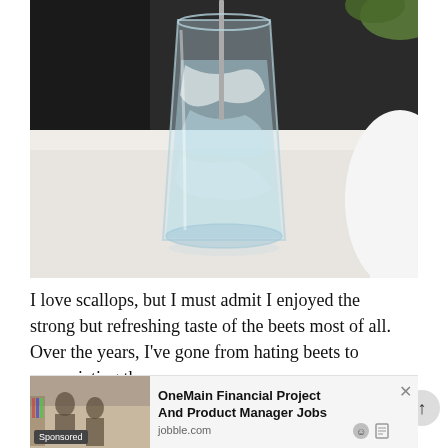[Figure (photo): A clear glass tumbler filled with water and ice, with a straw. The glass sits on a white table. A white bowl is partially visible on the right, and green plant leaves are visible in the top right corner. Background is dark.]
I love scallops, but I must admit I enjoyed the strong but refreshing taste of the beets most of all. Over the years, I've gone from hating beets to appreciating them.
[Figure (infographic): Advertisement banner: OneMain Financial Project And Product Manager Jobs. jobble.com. Shows office workers image on left, sponsored label, close button and ad icons.]